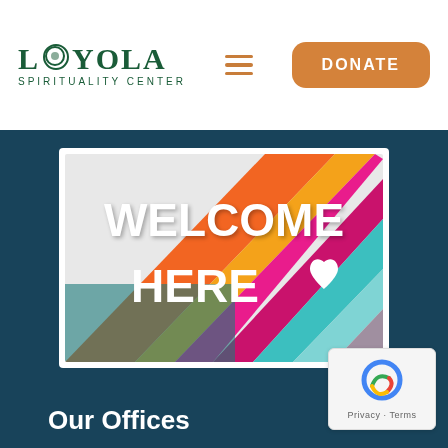Loyola Spirituality Center — DONATE
[Figure (illustration): Welcome Here graphic with rainbow diagonal stripes and white heart symbol on colorful background]
DONATE
Our Offices
[Figure (logo): reCAPTCHA badge with Privacy and Terms links]